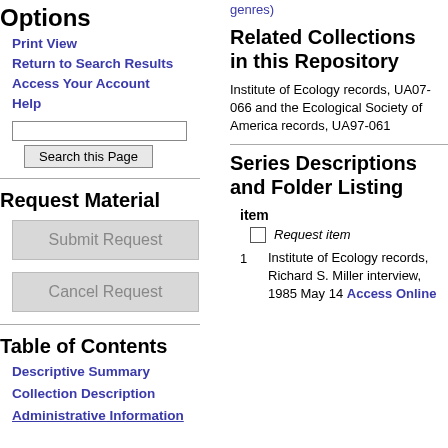Options
Print View
Return to Search Results
Access Your Account
Help
Search this Page
Request Material
Submit Request
Cancel Request
Table of Contents
Descriptive Summary
Collection Description
Administrative Information
genres)
Related Collections in this Repository
Institute of Ecology records, UA07-066 and the Ecological Society of America records, UA97-061
Series Descriptions and Folder Listing
item
Request item
1 Institute of Ecology records, Richard S. Miller interview, 1985 May 14 Access Online